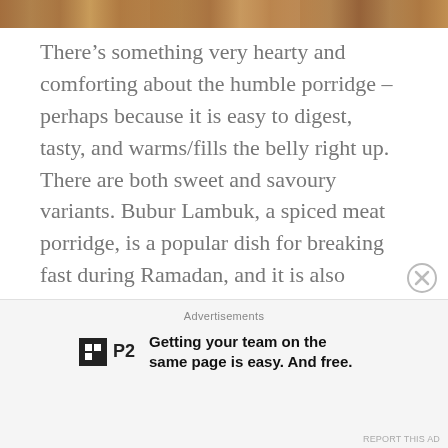[Figure (photo): Partial photo strip at top of page showing food items, cropped]
There’s something very hearty and comforting about the humble porridge – perhaps because it is easy to digest, tasty, and warms/fills the belly right up. There are both sweet and savoury variants. Bubur Lambuk, a spiced meat porridge, is a popular dish for breaking fast during Ramadan, and it is also served during Hari Raya. Again, like Rendang, different states have their own versions. The east coast of Peninsular Malaysia uses fish meat and fresh herbs such as fern and cassava leaves, while Bubur Lambuk Utara from the
Advertisements
[Figure (other): Advertisement banner: P2 logo with text 'Getting your team on the same page is easy. And free.']